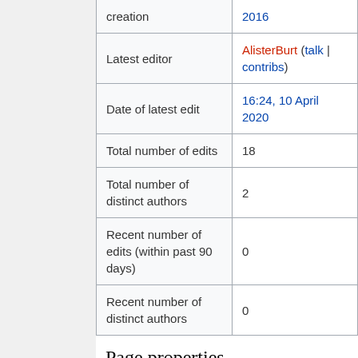| Property | Value |
| --- | --- |
| creation | 2016 |
| Latest editor | AlisterBurt (talk | contribs) |
| Date of latest edit | 16:24, 10 April 2020 |
| Total number of edits | 18 |
| Total number of distinct authors | 2 |
| Recent number of edits (within past 90 days) | 0 |
| Recent number of distinct authors | 0 |
Page properties
| Property | Value |
| --- | --- |
| Transcluded template (1) | Template:T (…) |